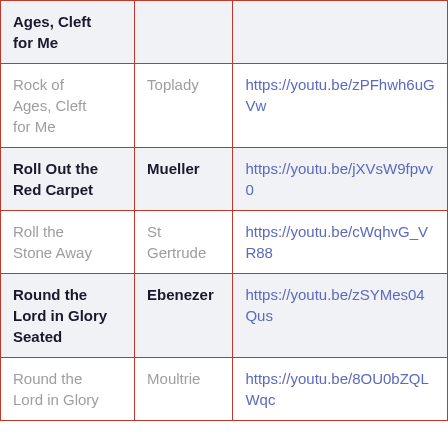| Song | Tune | Link |
| --- | --- | --- |
| Ages, Cleft for Me |  |  |
| Rock of Ages, Cleft for Me | Toplady | https://youtu.be/zPFhwh6uGVw |
| Roll Out the Red Carpet | Mueller | https://youtu.be/jXVsW9fpvv0 |
| Roll the Stone Away | St Gertrude | https://youtu.be/cWqhvG_VR88 |
| Round the Lord in Glory Seated | Ebenezer | https://youtu.be/zSYMes04Qus |
| Round the Lord in Glory | Moultrie | https://youtu.be/8OU0bZQLWqc |